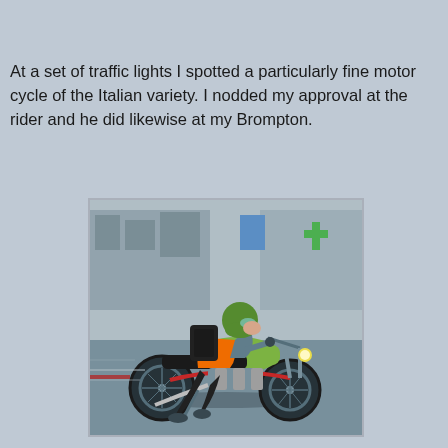At a set of traffic lights I spotted a particularly fine motor cycle of the Italian variety. I nodded my approval at the rider and he did likewise at my Brompton.
[Figure (photo): A motorcycle rider wearing a green helmet and orange jacket riding a green Italian-style motorcycle (likely a Moto Guzzi) on an urban street, carrying a black backpack.]